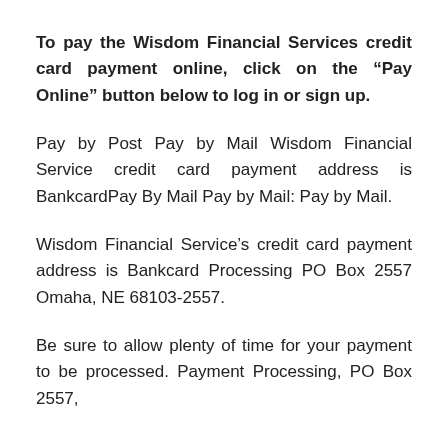To pay the Wisdom Financial Services credit card payment online, click on the “Pay Online” button below to log in or sign up.
Pay by Post Pay by Mail Wisdom Financial Service credit card payment address is BankcardPay By Mail Pay by Mail: Pay by Mail.
Wisdom Financial Service’s credit card payment address is Bankcard Processing PO Box 2557 Omaha, NE 68103-2557.
Be sure to allow plenty of time for your payment to be processed. Payment Processing, PO Box 2557,